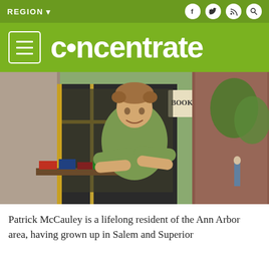REGION
concentrate
[Figure (photo): Young man with curly hair, arms crossed, wearing a green polo shirt, standing in front of a bookshop with books displayed outside. Storefront signage reads 'BOOK SHOP' and there is a hanging sign reading 'BOOKS'.]
Patrick McCauley is a lifelong resident of the Ann Arbor area, having grown up in Salem and Superior